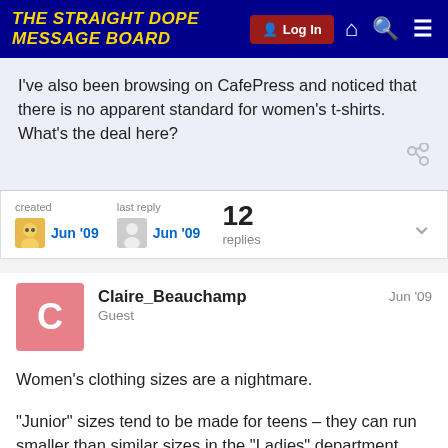THE STRAIGHT DOPE MESSAGE BOARD
I've also been browsing on CafePress and noticed that there is no apparent standard for women's t-shirts. What's the deal here?
created Jun '09   last reply Jun '09   12 replies
Claire_Beauchamp   Guest   Jun '09
Women's clothing sizes are a nightmare.
“Junior” sizes tend to be made for teens – they can run smaller than similar sizes in the “Ladies” department, and the assumption tends to be that someone who would prefer something that is a close fit.
1 / 13